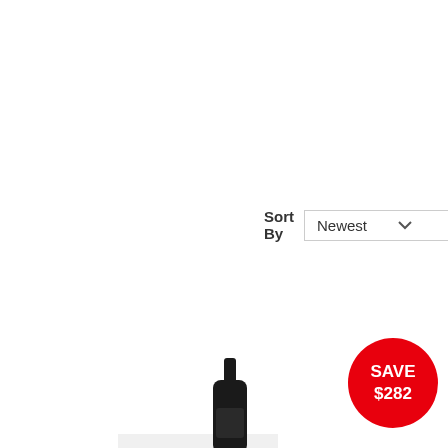[Figure (screenshot): Filter button with sliders icon on left side of toolbar]
[Figure (screenshot): Sort By dropdown showing 'Newest' with chevron, and red up arrow on right]
[Figure (screenshot): Red circular badge saying 'SAVE $282']
[Figure (photo): Dark wine bottle partially visible at bottom center of page]